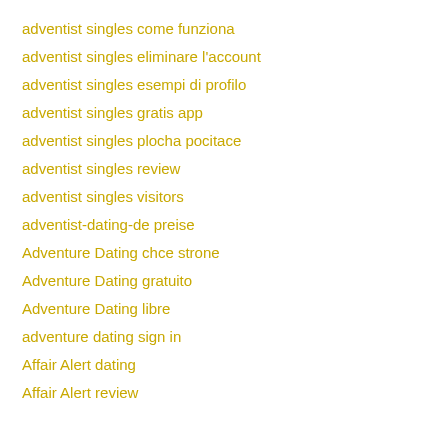adventist singles come funziona
adventist singles eliminare l'account
adventist singles esempi di profilo
adventist singles gratis app
adventist singles plocha pocitace
adventist singles review
adventist singles visitors
adventist-dating-de preise
Adventure Dating chce strone
Adventure Dating gratuito
Adventure Dating libre
adventure dating sign in
Affair Alert dating
Affair Alert review